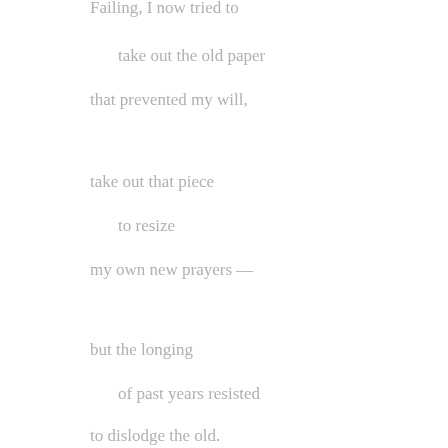Failing, I now tried to

    take out the old paper

that prevented my will,



take out that piece

    to resize

my own new prayers —



but the longing

    of past years resisted

to dislodge the old.